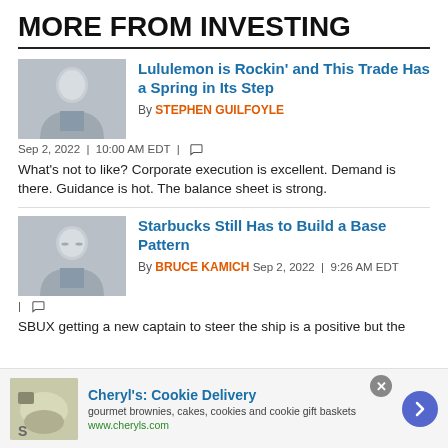MORE FROM INVESTING
[Figure (photo): Headshot of Stephen Guilfoyle, man in suit with grey background]
Lululemon is Rockin' and This Trade Has a Spring in Its Step
By STEPHEN GUILFOYLE
Sep 2, 2022 | 10:00 AM EDT |
What's not to like? Corporate execution is excellent. Demand is there. Guidance is hot. The balance sheet is strong.
[Figure (photo): Headshot of Bruce Kamich, man with glasses and suit]
Starbucks Still Has to Build a Base Pattern
By BRUCE KAMICH  Sep 2, 2022 | 9:26 AM EDT |
SBUX getting a new captain to steer the ship is a positive but the
[Figure (infographic): Advertisement banner for Cheryl's Cookie Delivery: gourmet brownies, cakes, cookies and cookie gift baskets. www.cheryls.com]